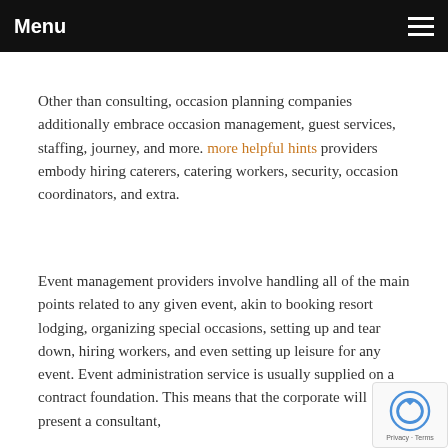Menu
Other than consulting, occasion planning companies additionally embrace occasion management, guest services, staffing, journey, and more. more helpful hints providers embody hiring caterers, catering workers, security, occasion coordinators, and extra.
Event management providers involve handling all of the main points related to any given event, akin to booking resort lodging, organizing special occasions, setting up and tear down, hiring workers, and even setting up leisure for any event. Event administration service is usually supplied on a contract foundation. This means that the corporate will present a consultant,